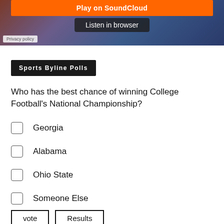[Figure (screenshot): SoundCloud embedded player with orange 'Play on SoundCloud' button, dark 'Listen in browser' button, and a background showing a sports logo. A 'Privacy policy' label appears at bottom left.]
Sports Byline Polls
Who has the best chance of winning College Football's National Championship?
Georgia
Alabama
Ohio State
Someone Else